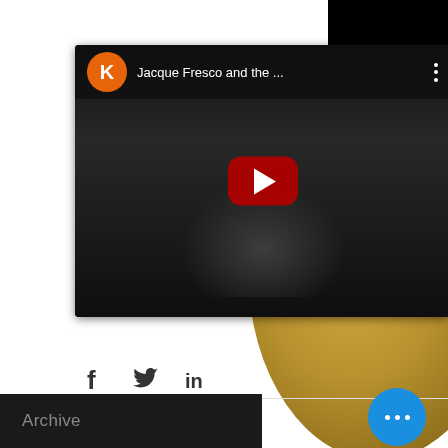[Figure (screenshot): YouTube video card showing 'Jacque Fresco and the ...' with orange K avatar, dark video thumbnail with red YouTube play button, and vertical three-dot menu]
[Figure (other): Social sharing bar with Facebook, Twitter, and LinkedIn icons, plus an up-arrow circle button]
[Figure (other): Heart/like icon in red outline and blue circle button with three white dots]
Archive